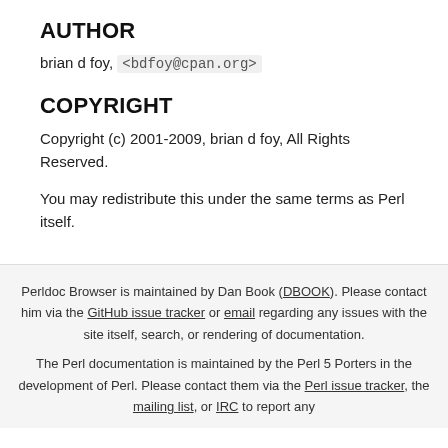AUTHOR
brian d foy, <bdfoy@cpan.org>
COPYRIGHT
Copyright (c) 2001-2009, brian d foy, All Rights Reserved.
You may redistribute this under the same terms as Perl itself.
Perldoc Browser is maintained by Dan Book (DBOOK). Please contact him via the GitHub issue tracker or email regarding any issues with the site itself, search, or rendering of documentation. The Perl documentation is maintained by the Perl 5 Porters in the development of Perl. Please contact them via the Perl issue tracker, the mailing list, or IRC to report any